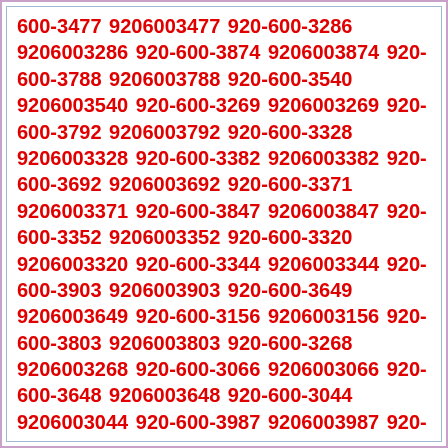600-3477 9206003477 920-600-3286 9206003286 920-600-3874 9206003874 920-600-3788 9206003788 920-600-3540 9206003540 920-600-3269 9206003269 920-600-3792 9206003792 920-600-3328 9206003328 920-600-3382 9206003382 920-600-3692 9206003692 920-600-3371 9206003371 920-600-3847 9206003847 920-600-3352 9206003352 920-600-3320 9206003320 920-600-3344 9206003344 920-600-3903 9206003903 920-600-3649 9206003649 920-600-3156 9206003156 920-600-3803 9206003803 920-600-3268 9206003268 920-600-3066 9206003066 920-600-3648 9206003648 920-600-3044 9206003044 920-600-3987 9206003987 920-600-3313 9206003313 920-600-3889 9206003889 920-600-3468 9206003468 920-600-3087 9206003087 920-600-3443 9206003443 920-600-3742 9206003742 920-600-3824 9206003824 920-600-3423 9206003423 920-600-3776 9206003776 920-600-3595 9206003595 920-600-3859